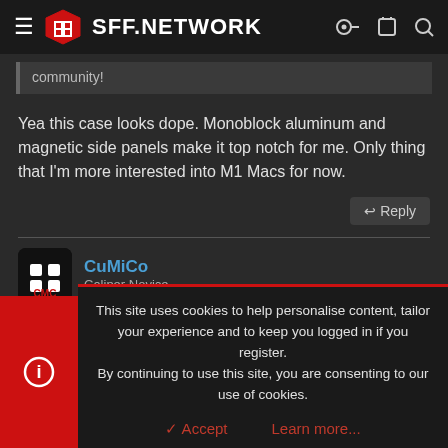SFF.NETWORK
community!
Yea this case looks dope. Monoblock aluminum and magnetic side panels make it top notch for me. Only thing that I'm more interested into M1 Macs for now.
↩ Reply
CuMiCo
Caliper Novice
This site uses cookies to help personalise content, tailor your experience and to keep you logged in if you register. By continuing to use this site, you are consenting to our use of cookies.
✓ Accept     Learn more...